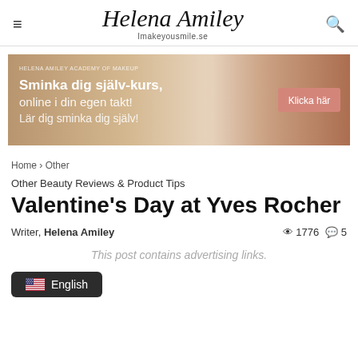Helena Amiley — Imakeyousmile.se
[Figure (photo): Banner advertisement for makeup course: 'Sminka dig själv-kurs, online i din egen takt! Lär dig sminka dig själv!' with a pink 'Klicka här' button and a woman applying blush makeup on the right side.]
Home › Other
Other Beauty Reviews & Product Tips
Valentine's Day at Yves Rocher
Writer, Helena Amiley · 1776 views · 5 comments
This post contains advertising links.
English